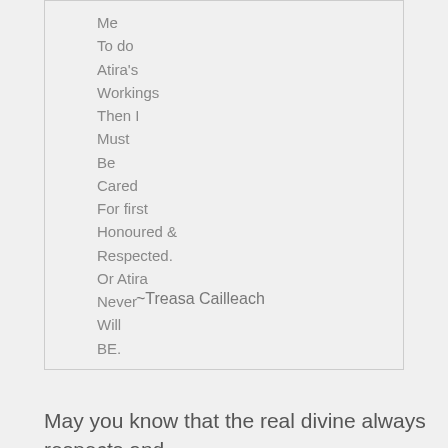Me
To do
Atira's
Workings
Then I
Must
Be
Cared
For first
Honoured &
Respected.
Or Atira
Never
Will
BE.
~Treasa Cailleach
May you know that the real divine always respects and